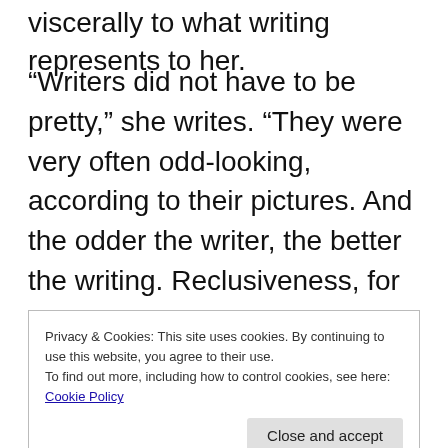viscerally to what writing represents to her.
“Writers did not have to be pretty,” she writes. “They were very often odd-looking, according to their pictures. And the odder the writer, the better the writing. Reclusiveness, for a writer, was expected. Unhappiness was just a bonus that gave you something to write about and opened up the wells of passion within your being. If you were miserable, ugly, hated, alone, still you were okay. Because you still had the Dream. No one could take it from you.”
Privacy & Cookies: This site uses cookies. By continuing to use this website, you agree to their use.
To find out more, including how to control cookies, see here: Cookie Policy
back at her life as a Mennonite as a positive